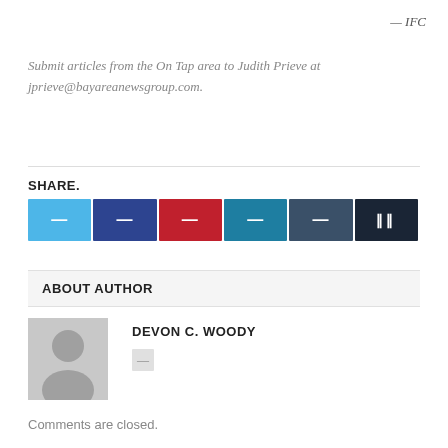— IFC
Submit articles from the On Tap area to Judith Prieve at jprieve@bayareanewsgroup.com.
[Figure (infographic): Social share buttons: Twitter (light blue), Facebook (dark blue), Pinterest (red), LinkedIn (teal), Tumblr (slate), More (dark navy with double rectangle icon)]
ABOUT AUTHOR
[Figure (photo): Default grey avatar silhouette placeholder image]
DEVON C. WOODY
Comments are closed.